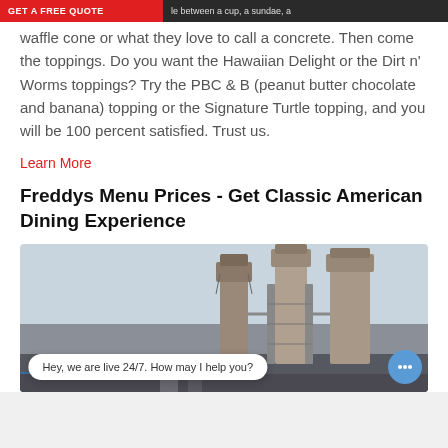GET A FREE QUOTE | ...le between a cup, a sundae, a waffle cone or what they love to call a concrete.
Then come the toppings. Do you want the Hawaiian Delight or the Dirt n' Worms toppings? Try the PBC & B (peanut butter chocolate and banana) topping or the Signature Turtle topping, and you will be 100 percent satisfied. Trust us.
Learn More
Freddys Menu Prices - Get Classic American Dining Experience
[Figure (photo): Industrial facility with large silos or processing towers, blue tarp visible at bottom left.]
Hey, we are live 24/7. How may I help you?